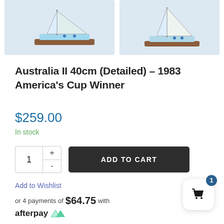[Figure (photo): Two sailboat model photos side by side at top of product page]
Australia II 40cm (Detailed) – 1983 America's Cup Winner
$259.00
In stock
ADD TO CART
Add to Wishlist
or 4 payments of $64.75 with afterpay